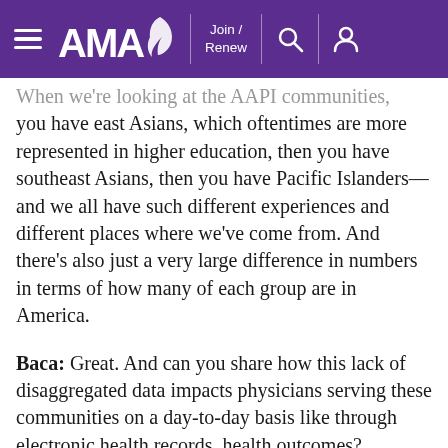AMA — Join / Renew
When we're looking at the AAPI communities, you have east Asians, which oftentimes are more represented in higher education, then you have southeast Asians, then you have Pacific Islanders—and we all have such different experiences and different places where we've come from. And there's also just a very large difference in numbers in terms of how many of each group are in America.
Baca: Great. And can you share how this lack of disaggregated data impacts physicians serving these communities on a day-to-day basis like through electronic health records, health outcomes?